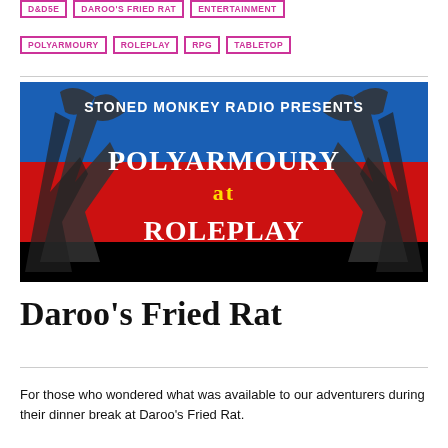D&D5E
DAROO'S FRIED RAT
ENTERTAINMENT
POLYARMOURY
ROLEPLAY
RPG
TABLETOP
[Figure (illustration): Banner image for Stoned Monkey Radio Presents PolyArmoury at Roleplay — black, blue, and red background with crossed axes and bold white text]
Daroo's Fried Rat
For those who wondered what was available to our adventurers during their dinner break at Daroo's Fried Rat.